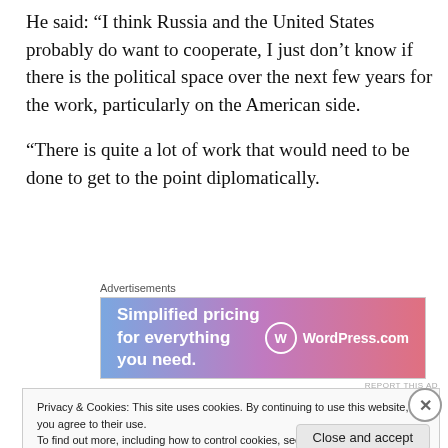He said: “I think Russia and the United States probably do want to cooperate, I just don’t know if there is the political space over the next few years for the work, particularly on the American side.
“There is quite a lot of work that would need to be done to get to the point diplomatically.
Advertisements
[Figure (other): WordPress.com advertisement banner with gradient background (blue to pink/red). Text reads: 'Simplified pricing for everything you need.' with WordPress.com logo on the right.]
REPORT THIS AD
Privacy & Cookies: This site uses cookies. By continuing to use this website, you agree to their use.
To find out more, including how to control cookies, see here: Cookie Policy
Close and accept